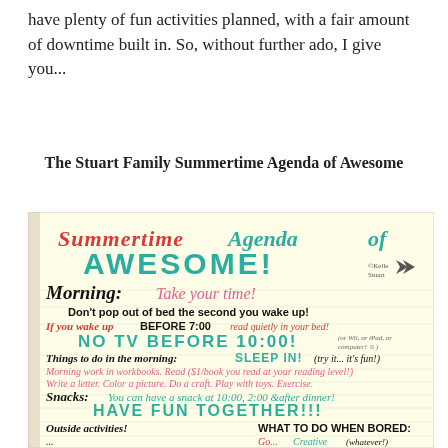have plenty of fun activities planned, with a fair amount of downtime built in. So, without further ado, I give you...
The Stuart Family Summertime Agenda of Awesome
[Figure (photo): Handwritten 'Summertime Agenda of Awesome' document with colorful text listing morning rules: Take your time, Don't pop out of bed, No TV before 10:00, Sleep In, morning work in workbooks, snacks schedule, Have Fun Together, outside activities, and What to Do When Bored sections.]